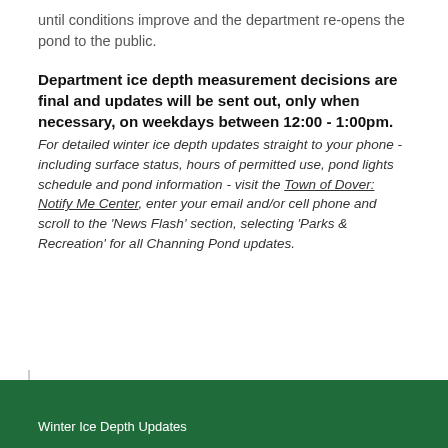until conditions improve and the department re-opens the pond to the public.
Department ice depth measurement decisions are final and updates will be sent out, only when necessary, on weekdays between 12:00 - 1:00pm.
For detailed winter ice depth updates straight to your phone - including surface status, hours of permitted use, pond lights schedule and pond information - visit the Town of Dover: Notify Me Center, enter your email and/or cell phone and scroll to the 'News Flash' section, selecting 'Parks & Recreation' for all Channing Pond updates.
Winter Ice Depth Updates